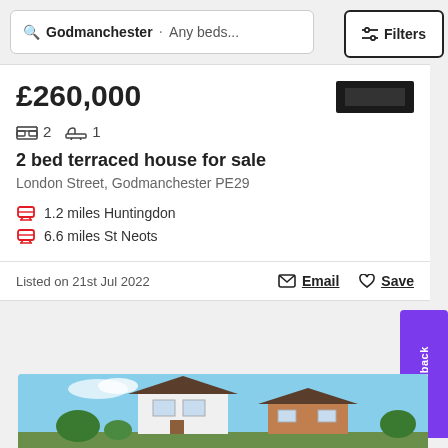Godmanchester · Any beds... Filters
£260,000
2 beds 1 bath
2 bed terraced house for sale
London Street, Godmanchester PE29
1.2 miles Huntingdon
6.6 miles St Neots
Listed on 21st Jul 2022
Email  Save
[Figure (photo): Exterior photo of a 2 bed terraced house with blue sky background, white render and brick facade]